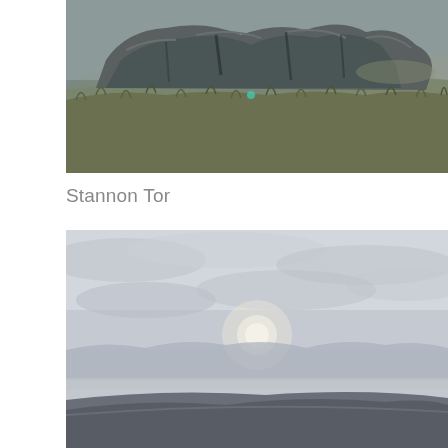[Figure (photo): Photograph of Stannon Tor rocky outcrop on moorland with large granite boulders and wild grasses in foreground, overcast sky]
Stannon Tor
[Figure (photo): Photograph of a pale winter sky with the sun partially visible through clouds over a sweeping moorland horizon]